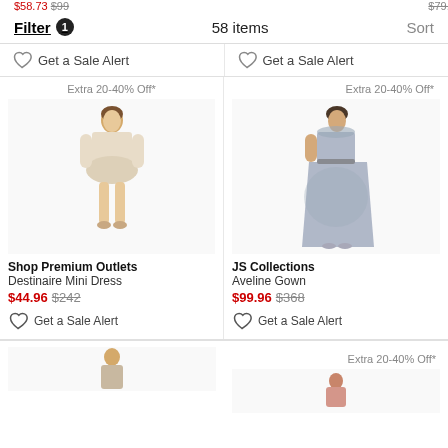Filter 1   58 items   Sort
Get a Sale Alert (left)
Get a Sale Alert (right)
Extra 20-40% Off* (left product)
[Figure (photo): Model wearing a beige/cream ruffled mini dress with long sleeves]
Shop Premium Outlets
Destinaire Mini Dress
$44.96 $242
Get a Sale Alert
Extra 20-40% Off* (right product)
[Figure (photo): Model wearing a silver/grey floral lace maxi gown]
JS Collections
Aveline Gown
$99.96 $368
Get a Sale Alert
Extra 20-40% Off* (bottom right)
[Figure (photo): Partial views of two more product images at bottom]
$58.73 $99 (top left price, clipped)
$79.95 (top right price, clipped)